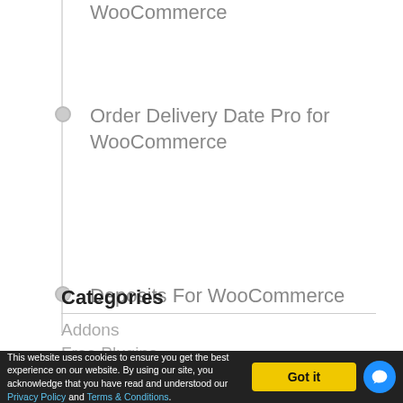WooCommerce
Order Delivery Date Pro for WooCommerce
Deposits For WooCommerce
Product Delivery Date Pro for WooCommerce
Categories
Addons
Free Plugins
This website uses cookies to ensure you get the best experience on our website. By using our site, you acknowledge that you have read and understood our Privacy Policy and Terms & Conditions.